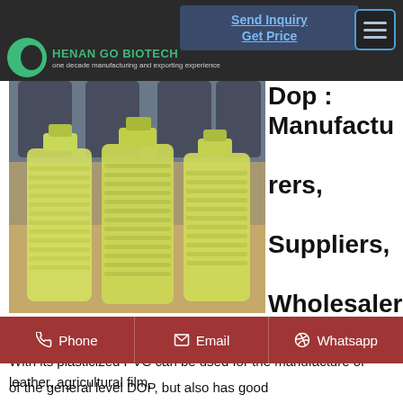HENAN GO BIOTECH — one decade manufacturing and exporting experience
[Figure (photo): Three bottles filled with yellowish liquid (DOP plasticizer) on a table, with blurred chairs in background]
Dop : Manufacturers, Suppliers, Wholesalers and Exporters
With its plasticized PVC can be used for the manufacture of leather, agricultural film,
Phone  Email  Whatsapp
of the general level DOP, but also has good